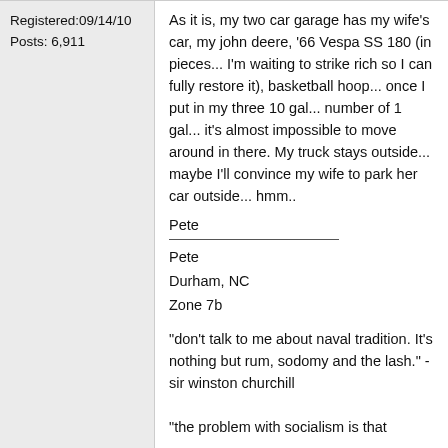Registered:09/14/10
Posts: 6,911
As it is, my two car garage has my wife's car, my john deere, '66 Vespa SS 180 (in pieces... I'm waiting to strike rich so I can fully restore it), basketball hoop... once I put in my three 10 gal... number of 1 gal... it's almost impossible to move around in there. My truck stays outside... maybe I'll convince my wife to park her car outside... hmm..
Pete
Pete
Durham, NC
Zone 7b
"don't talk to me about naval tradition. It's nothing but rum, sodomy and the lash." - sir winston churchill
"the problem with socialism is that...